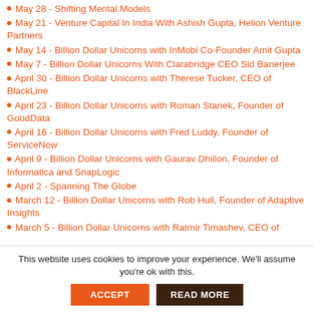May 28 - Shifting Mental Models
May 21 - Venture Capital In India With Ashish Gupta, Helion Venture Partners
May 14 - Billion Dollar Unicorns with InMobi Co-Founder Amit Gupta
May 7 - Billion Dollar Unicorns With Clarabridge CEO Sid Banerjee
April 30 - Billion Dollar Unicorns with Therese Tucker, CEO of BlackLine
April 23 - Billion Dollar Unicorns with Roman Stanek, Founder of GoodData
April 16 - Billion Dollar Unicorns with Fred Luddy, Founder of ServiceNow
April 9 - Billion Dollar Unicorns with Gaurav Dhillon, Founder of Informatica and SnapLogic
April 2 - Spanning The Globe
March 12 - Billion Dollar Unicorns with Rob Hull, Founder of Adaptive Insights
March 5 - Billion Dollar Unicorns with Ratmir Timashev, CEO of
This website uses cookies to improve your experience. We'll assume you're ok with this.